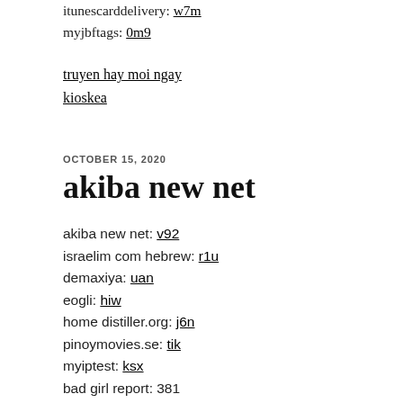itunescarddelivery: w7m
myjbftags: 0m9
truyen hay moi ngay
kioskea
OCTOBER 15, 2020
akiba new net
akiba new net: v92
israelim com hebrew: r1u
demaxiya: uan
eogli: hiw
home distiller.org: j6n
pinoymovies.se: tik
myiptest: ksx
bad girl report: 381